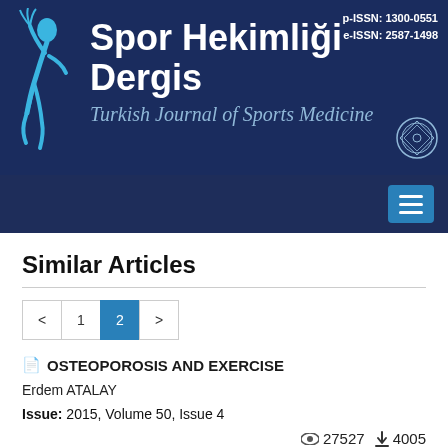[Figure (logo): Spor Hekimliği Dergisi / Turkish Journal of Sports Medicine journal header with blue background, stylized athlete figure icon, journal title in Turkish and English, ISSN numbers, and university emblem]
p-ISSN: 1300-0551
e-ISSN: 2587-1498
Similar Articles
< 1 2 >
OSTEOPOROSIS AND EXERCISE
Erdem ATALAY
Issue: 2015, Volume 50, Issue 4
27527 views  4005 downloads
Abstract  Abstract (Turkish)  Full Text (Turkish)